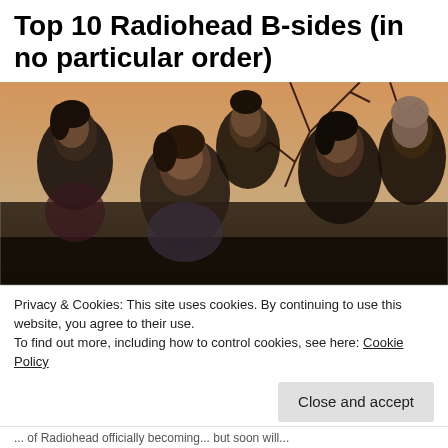Top 10 Radiohead B-sides (in no particular order)
[Figure (photo): Black and white / warm-toned group photo of five members of the band Radiohead, posed in front of bare tree branches against a warm, hazy sky.]
Privacy & Cookies: This site uses cookies. By continuing to use this website, you agree to their use.
To find out more, including how to control cookies, see here: Cookie Policy
... of Radiohead officially becoming... but soon will...